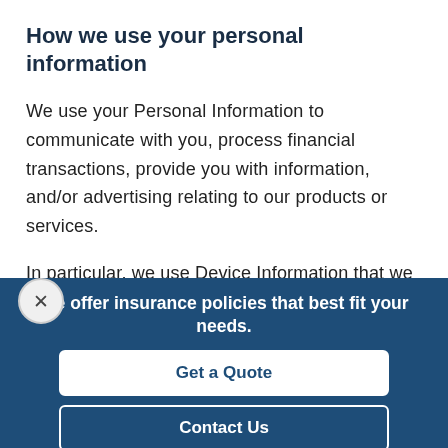How we use your personal information
We use your Personal Information to communicate with you, process financial transactions, provide you with information, and/or advertising relating to our products or services.
In particular, we use Device Information that we collect to help us improve and optimize our Site (for
We offer insurance policies that best fit your needs.
Get a Quote
Contact Us